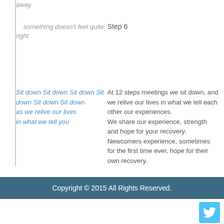away
something doesn't feel quite right
Step 6
Sit down Sit down Sit down Sit down Sit down Sit down as we relive our lives in what we tell you
At 12 steps meetings we sit down, and we relive our lives in what we tell each other our experiences. We share our experience, strength and hope for your recovery. Newcomers experience, sometimes for the first time ever, hope for their own recovery.
Copyright © 2015 All Rights Reserved.